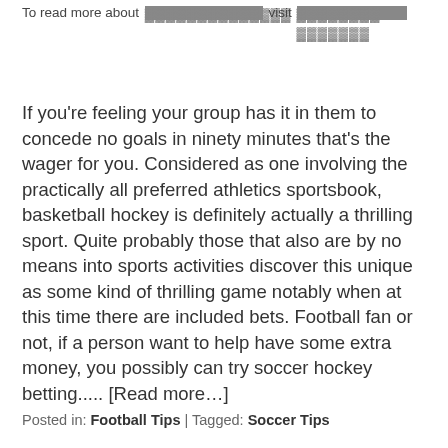To read more about [redacted] visit [redacted]
If you're feeling your group has it in them to concede no goals in ninety minutes that's the wager for you. Considered as one involving the practically all preferred athletics sportsbook, basketball hockey is definitely actually a thrilling sport. Quite probably those that also are by no means into sports activities discover this unique as some kind of thrilling game notably when at this time there are included bets. Football fan or not, if a person want to help have some extra money, you possibly can try soccer hockey betting..... [Read more…]
Posted in: Football Tips | Tagged: Soccer Tips